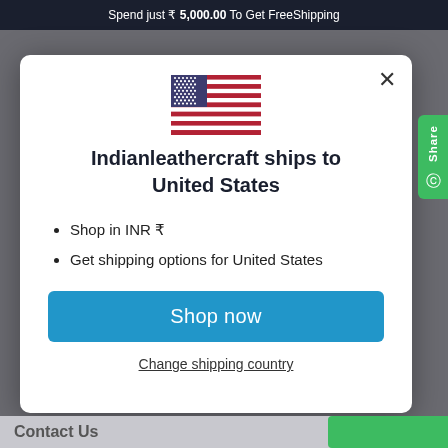Spend just ₹ 5,000.00 To Get FreeShipping
[Figure (illustration): US flag SVG illustration centered in modal dialog]
Indianleathercraft ships to United States
Shop in INR ₹
Get shipping options for United States
Shop now
Change shipping country